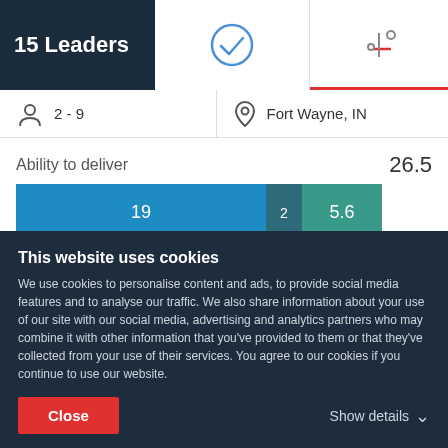15 Leaders
[Figure (infographic): Stacked horizontal bar chart showing Ability to deliver score of 26.5, with segments: 19 (blue), 2 (dark teal), 5.6 (teal)]
2 - 9
Fort Wayne, IN
Ability to deliver   26.5
Reviews
Service Focus
This website uses cookies
We use cookies to personalise content and ads, to provide social media features and to analyse our traffic. We also share information about your use of our site with our social media, advertising and analytics partners who may combine it with other information that you've provided to them or that they've collected from your use of their services. You agree to our cookies if you continue to use our website.
Close
Show details